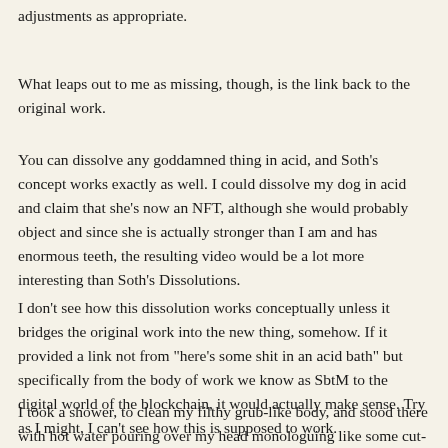adjustments as appropriate.
What leaps out to me as missing, though, is the link back to the original work.
You can dissolve any goddamned thing in acid, and Soth's concept works exactly as well. I could dissolve my dog in acid and claim that she's now an NFT, although she would probably object and since she is actually stronger than I am and has enormous teeth, the resulting video would be a lot more interesting than Soth's Dissolutions.
I don't see how this dissolution works conceptually unless it bridges the original work into the new thing, somehow. If it provided a link not from "here's some shit in an acid bath" but specifically from the body of work we know as SbtM to the digital world of the blockchain, it would actually make sense. Try as I might, I can't see how this is supposed to work.
I took a shower, to clean my filthy grub-like body, and stood there with hot water pouring over my head monologuing like some cut-rate supervillain: